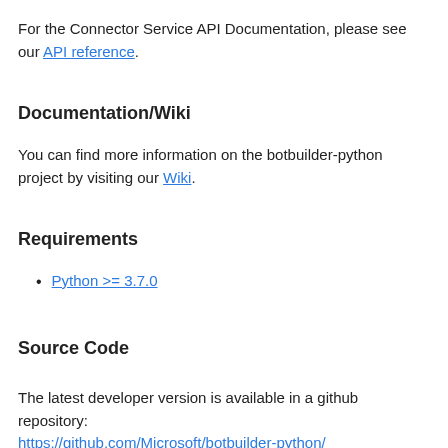For the Connector Service API Documentation, please see our API reference.
Documentation/Wiki
You can find more information on the botbuilder-python project by visiting our Wiki.
Requirements
Python >= 3.7.0
Source Code
The latest developer version is available in a github repository: https://github.com/Microsoft/botbuilder-python/